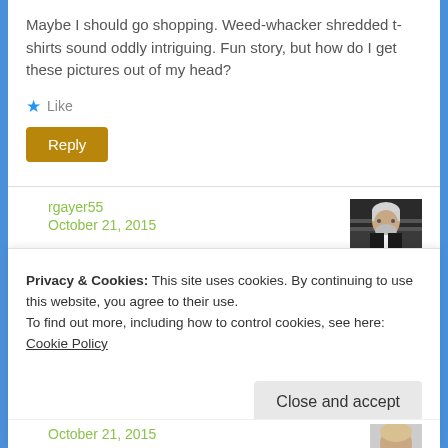Maybe I should go shopping. Weed-whacker shredded t-shirts sound oddly intriguing. Fun story, but how do I get these pictures out of my head?
★ Like
Reply
rgayer55
October 21, 2015
[Figure (photo): Small avatar photo of a man with gray hair and beard]
Privacy & Cookies: This site uses cookies. By continuing to use this website, you agree to their use.
To find out more, including how to control cookies, see here: Cookie Policy
Close and accept
October 21, 2015
[Figure (photo): Small partial avatar photo visible at bottom]